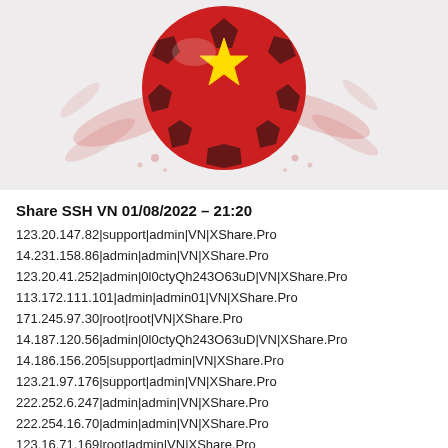[Figure (illustration): A red soccer ball decorated with a yellow star pattern resembling the Vietnamese flag, with red paint splatter effects on a light gray/white background]
Share SSH VN 01/08/2022 – 21:20
123.20.147.82|support|admin|VN|XShare.Pro
14.231.158.86|admin|admin|VN|XShare.Pro
123.20.41.252|admin|0l0ctyQh243O63uD|VN|XShare.Pro
113.172.111.101|admin|admin01|VN|XShare.Pro
171.245.97.30|root|root|VN|XShare.Pro
14.187.120.56|admin|0l0ctyQh243O63uD|VN|XShare.Pro
14.186.156.205|support|admin|VN|XShare.Pro
123.21.97.176|support|admin|VN|XShare.Pro
222.252.6.247|admin|admin|VN|XShare.Pro
222.254.16.70|admin|admin|VN|XShare.Pro
123.16.71.169|root|admin|VN|XShare.Pro
14.187.114.193|admin|admin01|VN|XShare.Pro